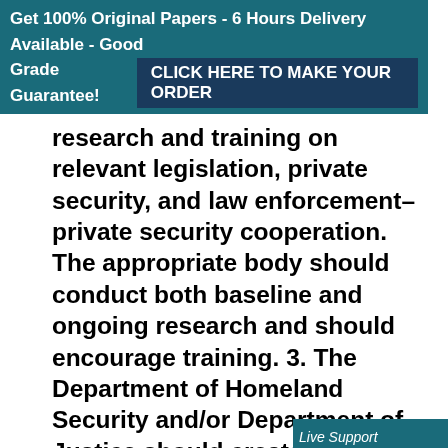Get 100% Original Papers - 6 Hours Delivery Available - Good Grade Guarantee! CLICK HERE TO MAKE YOUR ORDER
research and training on relevant legislation, private security, and law enforcement–private security cooperation. The appropriate body should conduct both baseline and ongoing research and should encourage training. 3. The Department of Homeland Security and/or Department of Justice should create an advisory council composed of nationally prominent law enforcement and private security professionals to oversee the day-to-day implementation issues of law enforcement–private security partnerships. The advisory counc work to institutionalize partnersh